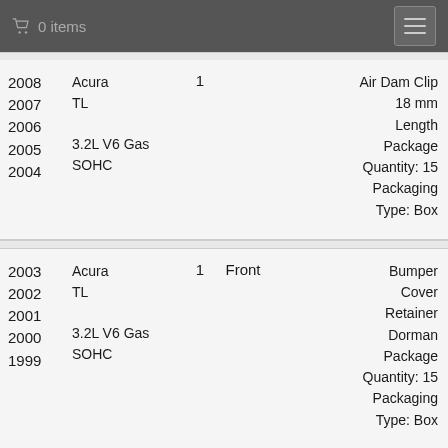0 items
| Years | Make/Model | Qty | Position | Part Description |
| --- | --- | --- | --- | --- |
| 2008 2007 2006 2005 2004 | Acura TL 3.2L V6 Gas SOHC | 1 |  | Air Dam Clip 18 mm Length Package Quantity: 15 Packaging Type: Box |
| 2003 2002 2001 2000 1999 | Acura TL 3.2L V6 Gas SOHC | 1 | Front | Bumper Cover Retainer Dorman Package Quantity: 15 Packaging Type: Box |